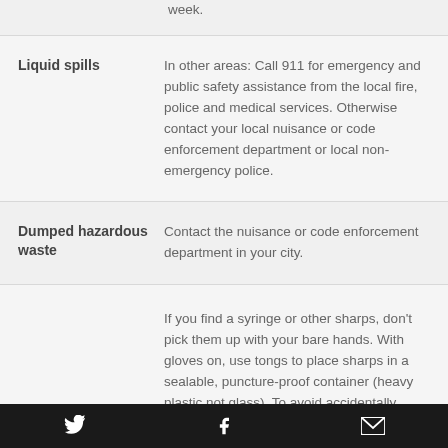week.
Liquid spills — In other areas: Call 911 for emergency and public safety assistance from the local fire, police and medical services. Otherwise contact your local nuisance or code enforcement department or local non-emergency police.
Dumped hazardous waste — Contact the nuisance or code enforcement department in your city.
Needles and syringes — If you find a syringe or other sharps, don't pick them up with your bare hands. With gloves on, use tongs to place sharps in a sealable, puncture-proof container (heavy plastic not glass). To avoid accidentally sticking yourself, do not hold the container while placing the syringe inside. Tape the
Twitter | Facebook | Email